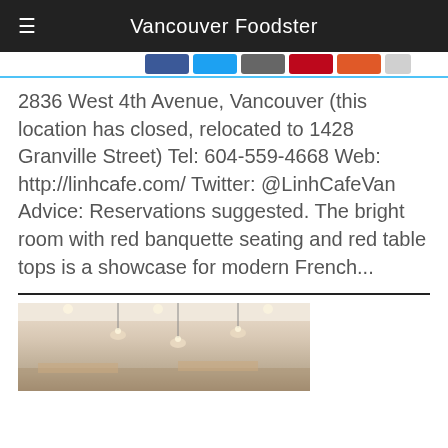Vancouver Foodster
[Figure (other): Social share buttons bar: Facebook, Twitter, Google+, Pinterest, Pocket, Email]
2836 West 4th Avenue, Vancouver (this location has closed, relocated to 1428 Granville Street) Tel: 604-559-4668 Web: http://linhcafe.com/ Twitter: @LinhCafeVan Advice: Reservations suggested. The bright room with red banquette seating and red table tops is a showcase for modern French...
[Figure (photo): Interior photo of a restaurant dining room with white walls, pendant ceiling lights and warm ambient lighting]